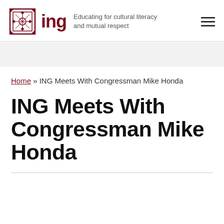ing — Educating for cultural literacy and mutual respect
Home » ING Meets With Congressman Mike Honda
ING Meets With Congressman Mike Honda